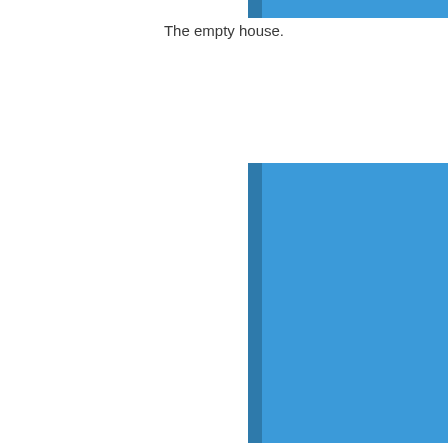[Figure (illustration): Top portion of a book cover with blue color, showing spine on left side with a darker blue stripe]
The empty house.
[Figure (illustration): Full book cover with blue color, showing spine on left side with a darker blue stripe]
Newman and Gladstone